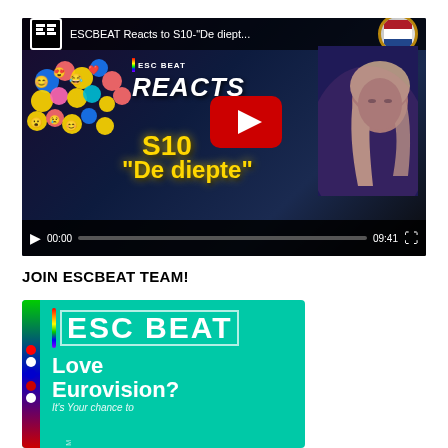[Figure (screenshot): YouTube video thumbnail and player for 'ESCBEAT Reacts to S10-De diept...' showing ESC Beat Reacts branding, S10 De diepte text in gold, a portrait of a blonde woman, Dutch flag badge, emoji bubbles, YouTube play button, and video controls showing 00:00 / 09:41]
JOIN ESCBEAT TEAM!
[Figure (photo): ESC Beat promotional banner on cyan/teal background with colorful vertical stripe on left side, ESC BEAT logo in white outlined letters, text 'Love Eurovision? It's Your chance to' in white on the banner]